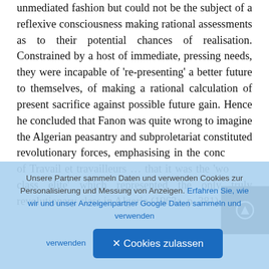unmediated fashion but could not be the subject of a reflexive consciousness making rational assessments as to their potential chances of realisation. Constrained by a host of immediate, pressing needs, they were incapable of 're-presenting' a better future to themselves, of making a rational calculation of present sacrifice against possible future gain. Hence he concluded that Fanon was quite wrong to imagine the Algerian peasantry and subproletariat constituted revolutionary forces, emphasising in the conclusion of Travail et travailleurs … that it was the 'working class elite' which represented the only truly revolutionary class in Algeria (1963a, p. 381). As his
Unsere Partner sammeln Daten und verwenden Cookies zur Personalisierung und Messung von Anzeigen. Erfahren Sie, wie wir und unser Anzeigenpartner Google Daten sammeln und verwenden